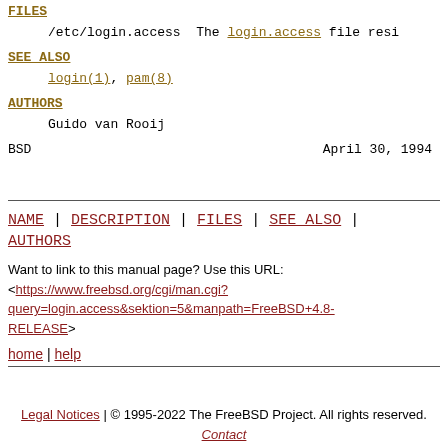FILES
/etc/login.access  The login.access file resi
SEE ALSO
login(1), pam(8)
AUTHORS
Guido van Rooij
BSD                                April 30, 1994
NAME | DESCRIPTION | FILES | SEE ALSO | AUTHORS
Want to link to this manual page? Use this URL:
<https://www.freebsd.org/cgi/man.cgi?query=login.access&sektion=5&manpath=FreeBSD+4.8-RELEASE>
home | help
Legal Notices | © 1995-2022 The FreeBSD Project. All rights reserved.
Contact